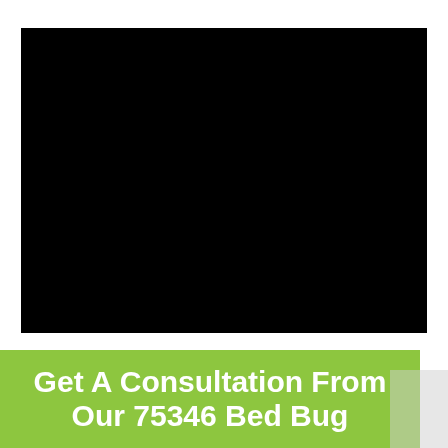[Figure (photo): Black rectangle representing a photo or video image area]
Get A Consultation From Our 75346 Bed Bug